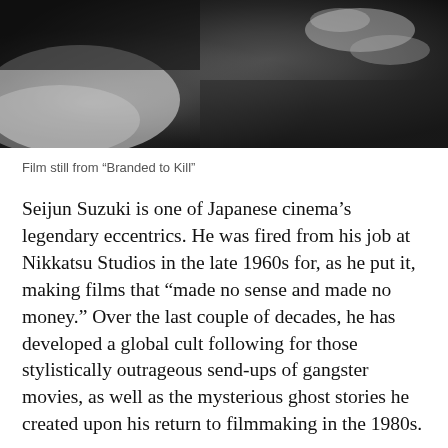[Figure (photo): Black and white film still from 'Branded to Kill', showing a close-up scene with dramatic contrast]
Film still from “Branded to Kill”
Seijun Suzuki is one of Japanese cinema’s legendary eccentrics. He was fired from his job at Nikkatsu Studios in the late 1960s for, as he put it, making films that “made no sense and made no money.” Over the last couple of decades, he has developed a global cult following for those stylistically outrageous send-ups of gangster movies, as well as the mysterious ghost stories he created upon his return to filmmaking in the 1980s.
Though he is virtually a household name in Japan (he was once voted the country’s best-dressed man), very little has been written about Suzuki in the United States —until now. My book Time and Place Are Nonsense: The